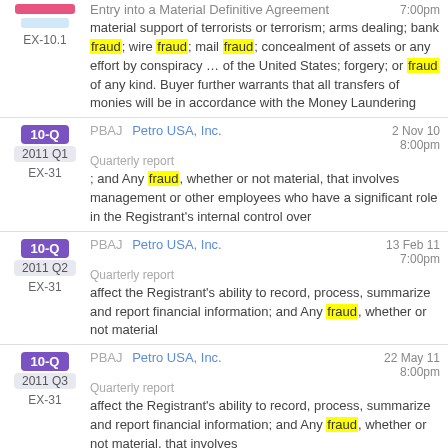EX-10.1 | Entry into a Material Definitive Agreement | 7:00pm
material support of terrorists or terrorism; arms dealing; bank fraud; wire fraud; mail fraud; concealment of assets or any effort by conspiracy … of the United States; forgery; or fraud of any kind. Buyer further warrants that all transfers of monies will be in accordance with the Money Laundering
10-Q 2011 Q1 | EX-31 | PBAJ Petro USA, Inc. | 2 Nov 10 8:00pm | Quarterly report
; and Any fraud, whether or not material, that involves management or other employees who have a significant role in the Registrant's internal control over
10-Q 2011 Q2 | EX-31 | PBAJ Petro USA, Inc. | 13 Feb 11 7:00pm | Quarterly report
affect the Registrant's ability to record, process, summarize and report financial information; and Any fraud, whether or not material
10-Q 2011 Q3 | EX-31 | PBAJ Petro USA, Inc. | 22 May 11 8:00pm | Quarterly report
affect the Registrant's ability to record, process, summarize and report financial information; and Any fraud, whether or not material, that involves